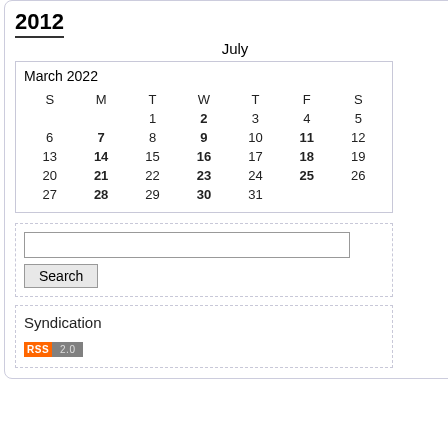2012
July
| S | M | T | W | T | F | S |
| --- | --- | --- | --- | --- | --- | --- |
|  |  | 1 | 2 | 3 | 4 | 5 |
| 6 | 7 | 8 | 9 | 10 | 11 | 12 |
| 13 | 14 | 15 | 16 | 17 | 18 | 19 |
| 20 | 21 | 22 | 23 | 24 | 25 | 26 |
| 27 | 28 | 29 | 30 | 31 |  |  |
Search
Syndication
[Figure (other): RSS 2.0 feed badge with orange RSS label and gray 2.0 label]